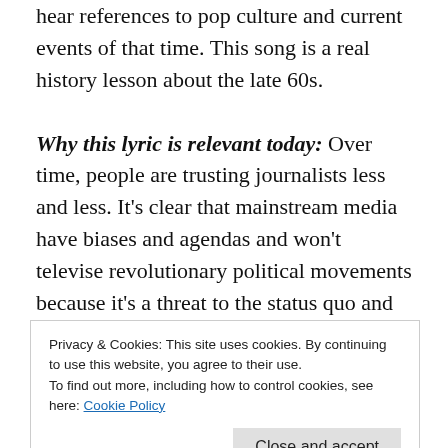hear references to pop culture and current events of that time. This song is a real history lesson about the late 60s.
Why this lyric is relevant today: Over time, people are trusting journalists less and less. It's clear that mainstream media have biases and agendas and won't televise revolutionary political movements because it's a threat to the status quo and their advertisers. You need to look beyond the TV set and newspaper to find
Privacy & Cookies: This site uses cookies. By continuing to use this website, you agree to their use. To find out more, including how to control cookies, see here: Cookie Policy
$1,000/month, a pipe dream, the media said. They